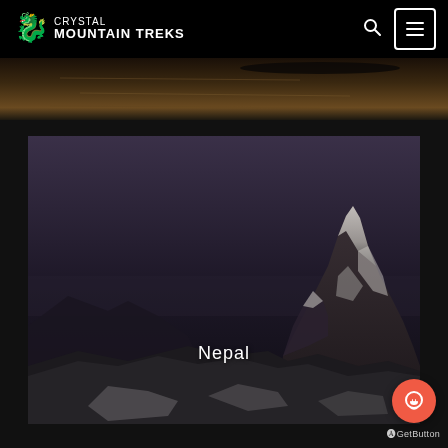Crystal Mountain Treks
[Figure (photo): Partial view of a reflective water scene with dark tones, shown as a narrow strip]
[Figure (photo): Snow-covered mountain peak (likely Machhapuchhre/Fishtail in Nepal) against a dark twilight sky, with the label 'Nepal' overlaid in white text at the center-bottom]
Nepal